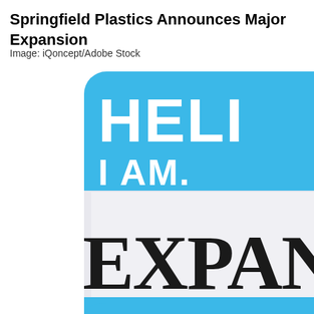Springfield Plastics Announces Major Expansion
Image: iQoncept/Adobe Stock
[Figure (illustration): A cropped close-up of a blue and white 'Hello My Name Is' style name tag sticker. The blue header area reads 'HELI' (partially cropped) and 'I AM.' (partially cropped). The white lower section shows the word 'EXPAND' (partially cropped, written in thick black hand-lettered style). The badge has rounded corners and a blue border at the bottom.]